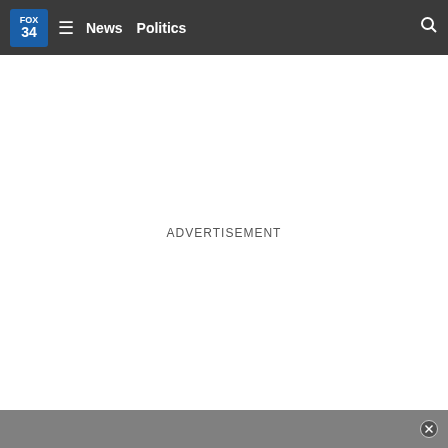FOX 34 | News | Politics
ADVERTISEMENT
[Figure (other): Bottom gray bar with close/dismiss button (circle X icon)]